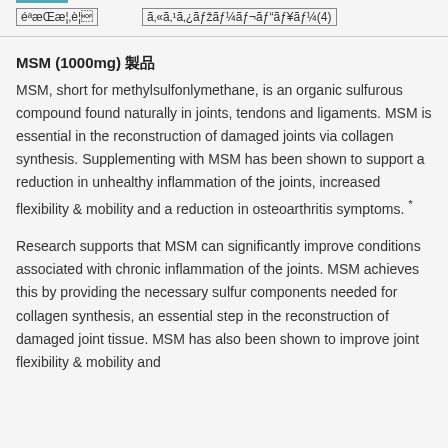製品概要　　カスタマーレビュー(4)
MSM (1000mg) 製品
MSM, short for methylsulfonlymethane, is an organic sulfurous compound found naturally in joints, tendons and ligaments. MSM is essential in the reconstruction of damaged joints via collagen synthesis. Supplementing with MSM has been shown to support a reduction in unhealthy inflammation of the joints, increased flexibility & mobility and a reduction in osteoarthritis symptoms. *
Research supports that MSM can significantly improve conditions associated with chronic inflammation of the joints. MSM achieves this by providing the necessary sulfur components needed for collagen synthesis, an essential step in the reconstruction of damaged joint tissue. MSM has also been shown to improve joint flexibility & mobility and